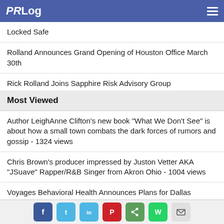PRLog
Locked Safe
Rolland Announces Grand Opening of Houston Office March 30th
Rick Rolland Joins Sapphire Risk Advisory Group
Most Viewed
Author LeighAnne Clifton's new book "What We Don't See" is about how a small town combats the dark forces of rumors and gossip - 1324 views
Chris Brown's producer impressed by Juston Vetter AKA "JSuave" Rapper/R&B Singer from Akron Ohio - 1004 views
Voyages Behavioral Health Announces Plans for Dallas Location - 744 views
Producer Drema Dream Presents a Special One Night Only
Social share buttons: Facebook, Twitter, LinkedIn, Pinterest, Share, WhatsApp, Email